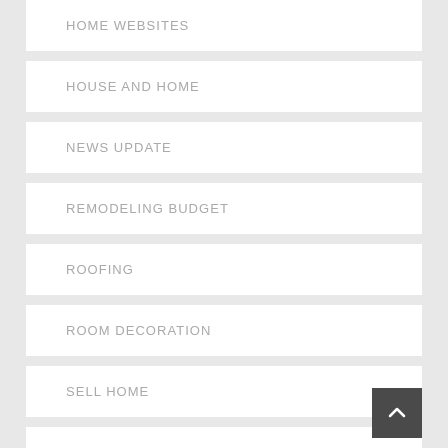HOME WEBSITES
HOUSE AND HOME
NEWS UPDATE
REMODELING BUDGET
ROOFING
ROOM DECORATION
SELL HOME
WINDOW